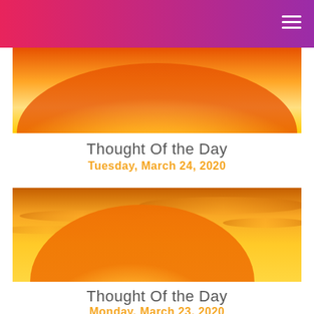[Figure (photo): Sunset photo with bright white-yellow sun glow against orange and golden sky, cropped at top]
Thought Of the Day
Tuesday, March 24, 2020
[Figure (photo): Sunset photo with bright white-yellow sun on the horizon, orange and golden sky with clouds]
Thought Of the Day
Monday, March 23, 2020